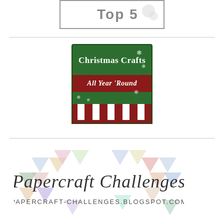[Figure (logo): Top 5 badge with snowman graphic, bordered rectangle]
[Figure (logo): Christmas Crafts All Year Round badge with green and red candy-stripe design and snowflakes]
[Figure (logo): Papercraft Challenges logo with colorful triangle shapes and script text, URL papercraft-challenges.blogspot.com]